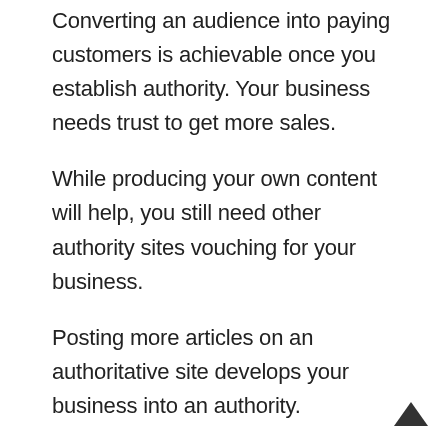Converting an audience into paying customers is achievable once you establish authority. Your business needs trust to get more sales.
While producing your own content will help, you still need other authority sites vouching for your business.
Posting more articles on an authoritative site develops your business into an authority.
Your target audience will begin to trust you. And this translates into more active and engaged social media followers.